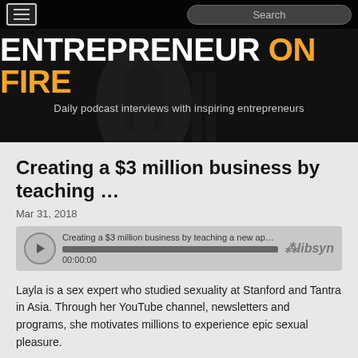[Figure (screenshot): Entrepreneur On Fire website header banner with dark background, microphone silhouette, hamburger menu, search box, logo and tagline]
Creating a $3 million business by teaching …
Mar 31, 2018
[Figure (screenshot): Audio player showing: Creating a $3 million business by teaching a new approa... with progress bar, 00:00:00 timestamp and libsyn logo]
Layla is a sex expert who studied sexuality at Stanford and Tantra in Asia. Through her YouTube channel, newsletters and programs, she motivates millions to experience epic sexual pleasure.
Top 3 Value Bombs: